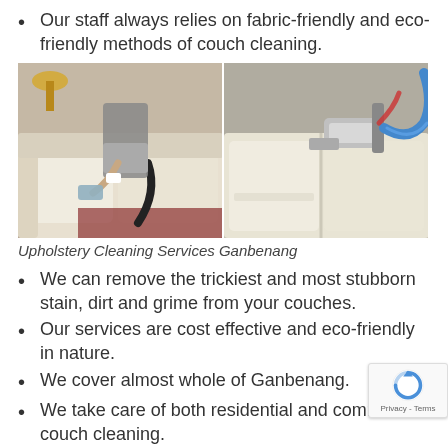Our staff always relies on fabric-friendly and eco-friendly methods of couch cleaning.
[Figure (photo): Two side-by-side photos showing upholstery cleaning: left photo shows a person cleaning a white couch cushion with a cloth/tool and vacuum hose; right photo shows a steam cleaning tool being used on a light-colored couch or mattress.]
Upholstery Cleaning Services Ganbenang
We can remove the trickiest and most stubborn stain, dirt and grime from your couches.
Our services are cost effective and eco-friendly in nature.
We cover almost whole of Ganbenang.
We take care of both residential and commercial couch cleaning.
Get in touch with...